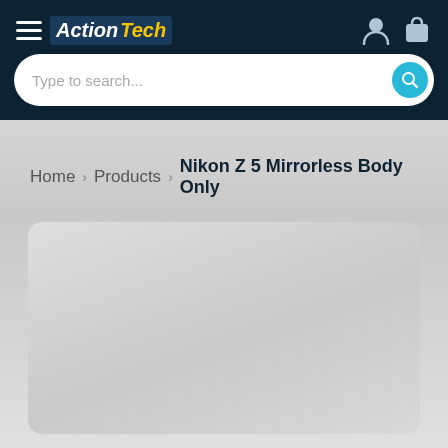ActionTech — navigation header with hamburger menu, logo, user icon, cart icon, and search bar
Type to search...
Home > Products > Nikon Z 5 Mirrorless Body Only
[Figure (photo): Light grey product image placeholder card with rounded corners]